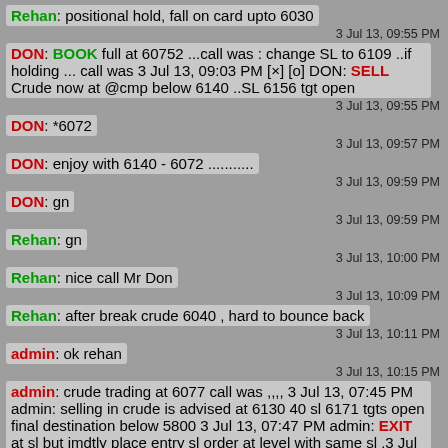Rehan: positional hold, fall on card upto 6030
3 Jul 13, 09:55 PM
DON: BOOK full at 60752 ...call was : change SL to 6109 ..if holding ... call was 3 Jul 13, 09:03 PM [x] [o] DON: SELL Crude now at @cmp below 6140 ..SL 6156 tgt open
3 Jul 13, 09:55 PM
DON: *6072
3 Jul 13, 09:57 PM
DON: enjoy with 6140 - 6072 ...........
3 Jul 13, 09:59 PM
DON: gn
3 Jul 13, 09:59 PM
Rehan: gn
3 Jul 13, 10:00 PM
Rehan: nice call Mr Don
3 Jul 13, 10:09 PM
Rehan: after break crude 6040 , hard to bounce back
3 Jul 13, 10:11 PM
admin: ok rehan
3 Jul 13, 10:15 PM
admin: crude trading at 6077 call was ,,,, 3 Jul 13, 07:45 PM admin: selling in crude is advised at 6130 40 sl 6171 tgts open final destination below 5800 3 Jul 13, 07:47 PM admin: EXIT at sl but imdtly place entry sl order at level with same sl .3 Jul 13,